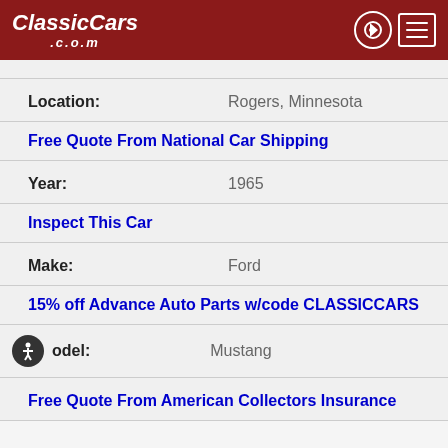ClassicCars.com
Location: Rogers, Minnesota
Free Quote From National Car Shipping
Year: 1965
Inspect This Car
Make: Ford
15% off Advance Auto Parts w/code CLASSICCARS
Model: Mustang
Free Quote From American Collectors Insurance